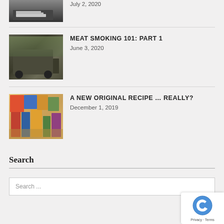[Figure (photo): Partial view of a laptop on a desk - top portion cut off]
July 2, 2020
[Figure (photo): A large black BBQ smoker on wheels outdoors]
MEAT SMOKING 101: PART 1
June 3, 2020
[Figure (photo): A collection of cookbooks spread out on a table]
A NEW ORIGINAL RECIPE … REALLY?
December 1, 2019
Search
Search ...